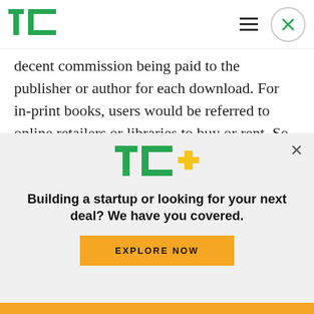TechCrunch logo and navigation
decent commission being paid to the publisher or author for each download. For in-print books, users would be referred to online retailers or libraries to buy or rent. So far, so fair.
But one aspect of the settlement wasn't so uncontroversial, and that was the issue of so-called
[Figure (logo): TC+ logo with green TC letters and yellow/gold plus sign]
Building a startup or looking for your next deal? We have you covered.
EXPLORE NOW